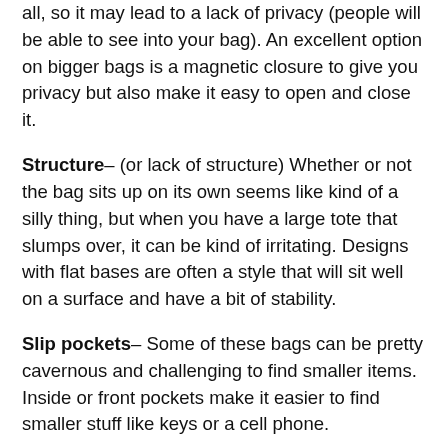all, so it may lead to a lack of privacy (people will be able to see into your bag). An excellent option on bigger bags is a magnetic closure to give you privacy but also make it easy to open and close it.
Structure– (or lack of structure) Whether or not the bag sits up on its own seems like kind of a silly thing, but when you have a large tote that slumps over, it can be kind of irritating. Designs with flat bases are often a style that will sit well on a surface and have a bit of stability.
Slip pockets– Some of these bags can be pretty cavernous and challenging to find smaller items. Inside or front pockets make it easier to find smaller stuff like keys or a cell phone.